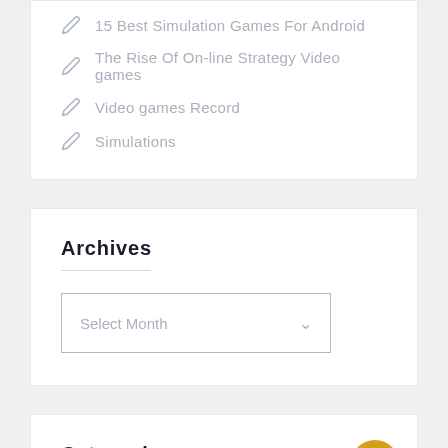15 Best Simulation Games For Android
The Rise Of On-line Strategy Video games
Video games Record
Simulations
Archives
Select Month
Categories